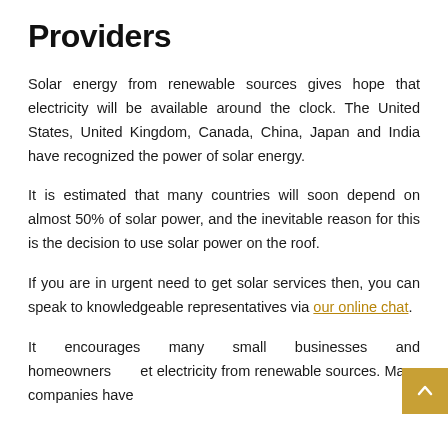Providers
Solar energy from renewable sources gives hope that electricity will be available around the clock. The United States, United Kingdom, Canada, China, Japan and India have recognized the power of solar energy.
It is estimated that many countries will soon depend on almost 50% of solar power, and the inevitable reason for this is the decision to use solar power on the roof.
If you are in urgent need to get solar services then, you can speak to knowledgeable representatives via our online chat.
It encourages many small businesses and homeowners to get electricity from renewable sources. Many companies have